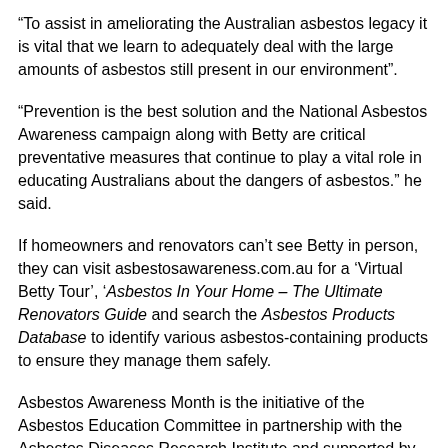“To assist in ameliorating the Australian asbestos legacy it is vital that we learn to adequately deal with the large amounts of asbestos still present in our environment”.
“Prevention is the best solution and the National Asbestos Awareness campaign along with Betty are critical preventative measures that continue to play a vital role in educating Australians about the dangers of asbestos.” he said.
If homeowners and renovators can’t see Betty in person, they can visit asbestosawareness.com.au for a ‘Virtual Betty Tour’, ‘Asbestos In Your Home – The Ultimate Renovators Guide and search the Asbestos Products Database to identify various asbestos-containing products to ensure they manage them safely.
Asbestos Awareness Month is the initiative of the Asbestos Education Committee in partnership with the Asbestos Diseases Research Institute and supported by the Heads of Asbestos Coordination Authorities to provide local, state and federal governments with practical awareness resources including Betty.